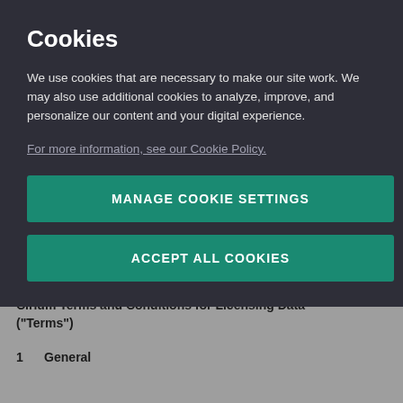Cookies
We use cookies that are necessary to make our site work. We may also use additional cookies to analyze, improve, and personalize our content and your digital experience.
For more information, see our Cookie Policy.
MANAGE COOKIE SETTINGS
ACCEPT ALL COOKIES
Cirium Terms and Conditions for Licensing Data ("Terms")
1      General